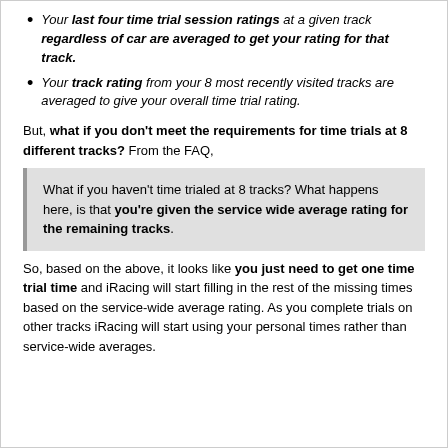Your last four time trial session ratings at a given track regardless of car are averaged to get your rating for that track.
Your track rating from your 8 most recently visited tracks are averaged to give your overall time trial rating.
But, what if you don't meet the requirements for time trials at 8 different tracks? From the FAQ,
What if you haven't time trialed at 8 tracks? What happens here, is that you're given the service wide average rating for the remaining tracks.
So, based on the above, it looks like you just need to get one time trial time and iRacing will start filling in the rest of the missing times based on the service-wide average rating. As you complete trials on other tracks iRacing will start using your personal times rather than service-wide averages.